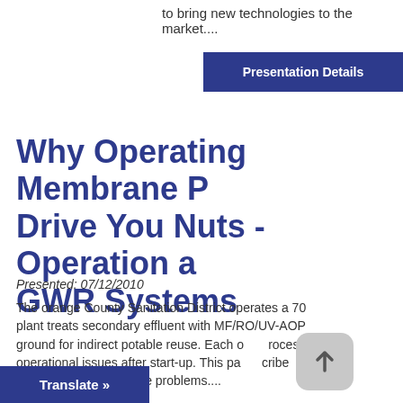to bring new technologies to the market....
Presentation Details
Why Operating Membrane P... Drive You Nuts - Operation a... GWR Systems
Presented: 07/12/2010
The orange County Sanitation District operates a 70... plant treats secondary effluent with MF/RO/UV-AOP... ground for indirect potable reuse. Each o...roces... operational issues after start-up. This pa...cribe... to these problems....